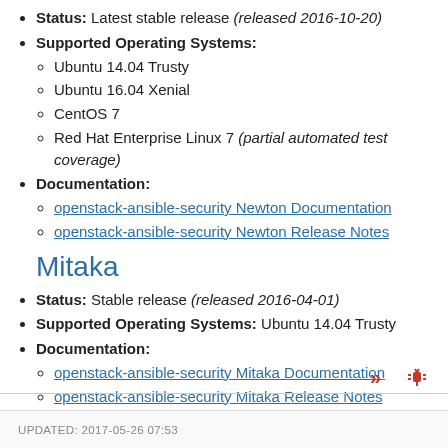Status: Latest stable release (released 2016-10-20)
Supported Operating Systems:
Ubuntu 14.04 Trusty
Ubuntu 16.04 Xenial
CentOS 7
Red Hat Enterprise Linux 7 (partial automated test coverage)
Documentation:
openstack-ansible-security Newton Documentation
openstack-ansible-security Newton Release Notes
Mitaka
Status: Stable release (released 2016-04-01)
Supported Operating Systems: Ubuntu 14.04 Trusty
Documentation:
openstack-ansible-security Mitaka Documentation
openstack-ansible-security Mitaka Release Notes
UPDATED: 2017-05-26 07:53